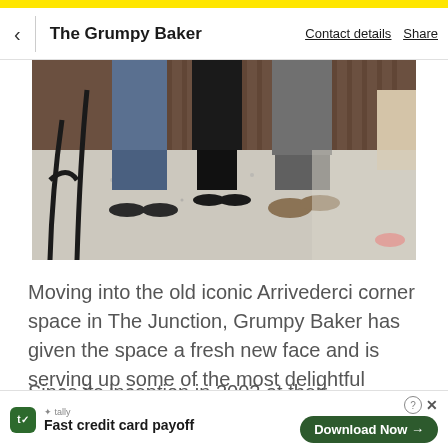The Grumpy Baker   Contact details   Share
[Figure (photo): Photo showing the lower half of several people standing on a terrazzo floor in front of a slatted wooden wall. A black chair leg is visible on the left. People are wearing jeans and casual shoes.]
Moving into the old iconic Arrivederci corner space in The Junction, Grumpy Baker has given the space a fresh new face and is serving up some of the most delightful goods the local area has experienced.
Since its inception in 2002 at their Darlinghurst locatio... the brand...
[Figure (other): Advertisement banner: Tally app - Fast credit card payoff. Download Now button with arrow.]